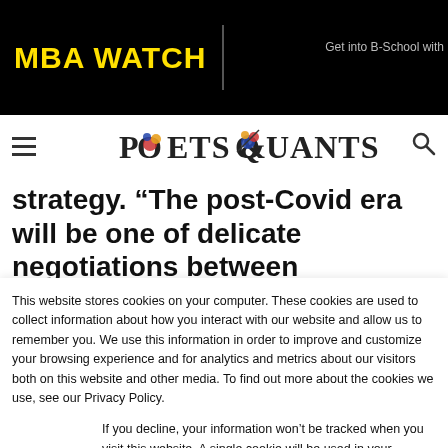MBA WATCH
[Figure (logo): Poets & Quants logo with colored circle graphics on letters O and Q]
strategy. “The post-Covid era will be one of delicate negotiations between employers and employees as both sides set new expectations for
This website stores cookies on your computer. These cookies are used to collect information about how you interact with our website and allow us to remember you. We use this information in order to improve and customize your browsing experience and for analytics and metrics about our visitors both on this website and other media. To find out more about the cookies we use, see our Privacy Policy.
If you decline, your information won’t be tracked when you visit this website. A single cookie will be used in your browser to remember your preference not to be tracked.